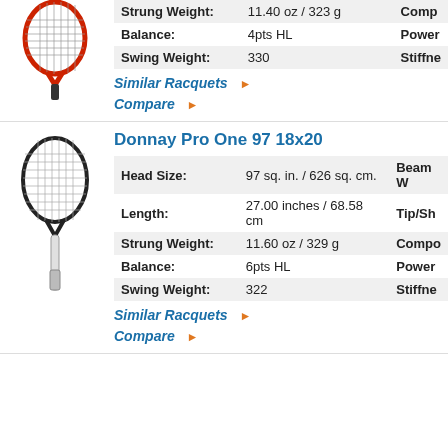[Figure (illustration): Red tennis racquet illustration, top portion visible]
| Attribute | Value | Extra |
| --- | --- | --- |
| Strung Weight: | 11.40 oz / 323 g | Comp |
| Balance: | 4pts HL | Power |
| Swing Weight: | 330 | Stiffne |
Similar Racquets ▶
Compare ▶
Donnay Pro One 97 18x20
[Figure (illustration): Black and white tennis racquet illustration]
| Attribute | Value | Extra |
| --- | --- | --- |
| Head Size: | 97 sq. in. / 626 sq. cm. | Beam W |
| Length: | 27.00 inches / 68.58 cm | Tip/Sh |
| Strung Weight: | 11.60 oz / 329 g | Compo |
| Balance: | 6pts HL | Power |
| Swing Weight: | 322 | Stiffne |
Similar Racquets ▶
Compare ▶